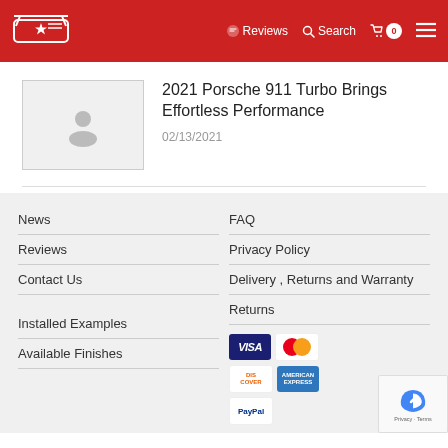Reviews  Search  [Cart: 0]  [Menu]
[Figure (screenshot): Placeholder thumbnail image with grey person silhouette icon for article]
2021 Porsche 911 Turbo Brings Effortless Performance
02/13/2021
News
Reviews
Contact Us
FAQ
Privacy Policy
Delivery , Returns and Warranty
Returns
Installed Examples
Available Finishes
[Figure (other): Payment icons: VISA, Mastercard, Discover, American Express, PayPal]